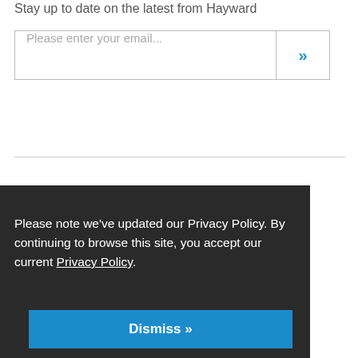Stay up to date on the latest from Hayward
Please enter your email...
Please note we've updated our Privacy Policy. By continuing to browse this site, you accept our current Privacy Policy.
Dismiss »